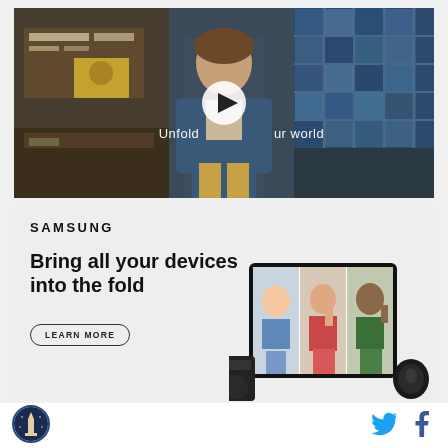[Figure (screenshot): Video thumbnail showing a teenage boy in a denim jacket walking in a school cafeteria with a play button overlay and text 'Unfold your world']
[Figure (screenshot): Samsung advertisement showing 'SAMSUNG' logo, headline 'Bring all your devices into the fold', a 'LEARN MORE' button, and images of Samsung devices including a tablet with video call]
[Figure (logo): Circular logo with building/monument silhouette (dark blue)]
[Figure (illustration): Twitter bird icon in cyan blue]
[Figure (illustration): Facebook 'f' icon in dark blue]